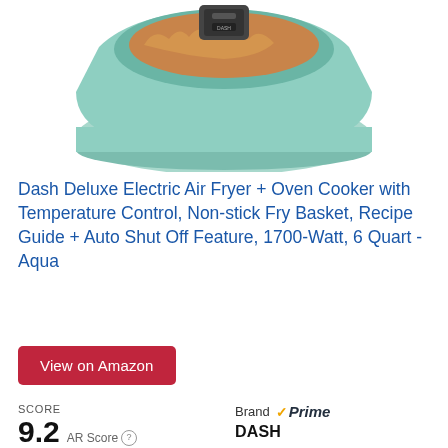[Figure (photo): Aqua/mint colored Dash Deluxe Electric Air Fryer with black handle, partially cropped at top of page]
Dash Deluxe Electric Air Fryer + Oven Cooker with Temperature Control, Non-stick Fry Basket, Recipe Guide + Auto Shut Off Feature, 1700-Watt, 6 Quart - Aqua
View on Amazon
SCORE
9.2  AR Score ⓘ
Brand  ✓Prime
DASH
♡  Product Highlights